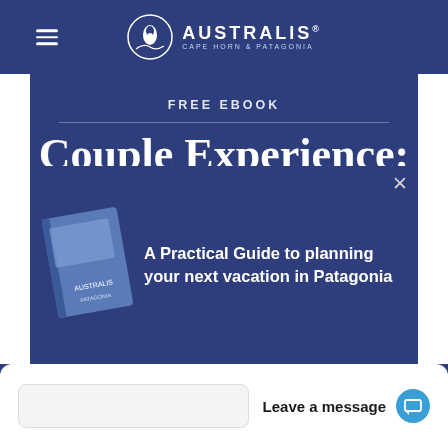[Figure (logo): Australis Cape Horn & Patagonia logo with circular penguin emblem and hamburger menu icon on dark blue nav bar]
FREE EBOOK
Couple Experience: Unique and Original Vacation
[Figure (illustration): Popup showing a book cover for a Patagonia travel guide with text: A Practical Guide to planning your next vacation in Patagonia]
A Practical Guide to planning your next vacation in Patagonia
Leave a message